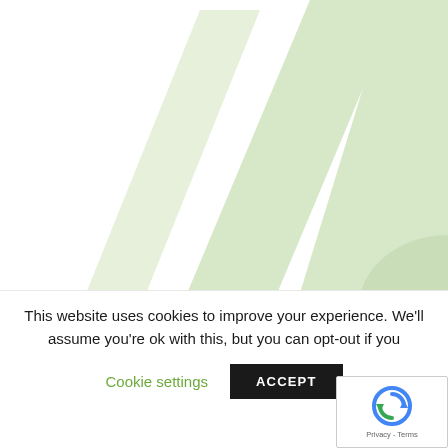[Figure (logo): Large light green stylized logo mark (abstract diagonal shapes resembling a letter A or mountain forms) on white background, cropped]
This website uses cookies to improve your experience. We'll assume you're ok with this, but you can opt-out if you
Cookie settings
ACCEPT
[Figure (logo): reCAPTCHA badge with circular arrows logo and 'Privacy - Terms' text]